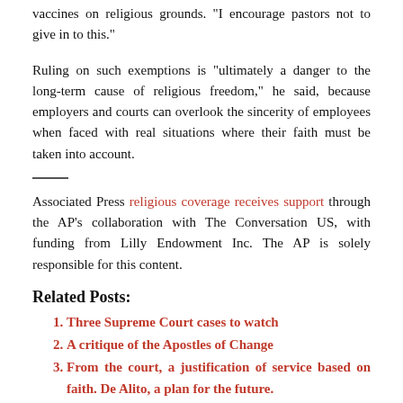vaccines on religious grounds. "I encourage pastors not to give in to this."
Ruling on such exemptions is "ultimately a danger to the long-term cause of religious freedom," he said, because employers and courts can overlook the sincerity of employees when faced with real situations where their faith must be taken into account.
Associated Press religious coverage receives support through the AP's collaboration with The Conversation US, with funding from Lilly Endowment Inc. The AP is solely responsible for this content.
Related Posts:
Three Supreme Court cases to watch
A critique of the Apostles of Change
From the court, a justification of service based on faith. De Alito, a plan for the future.